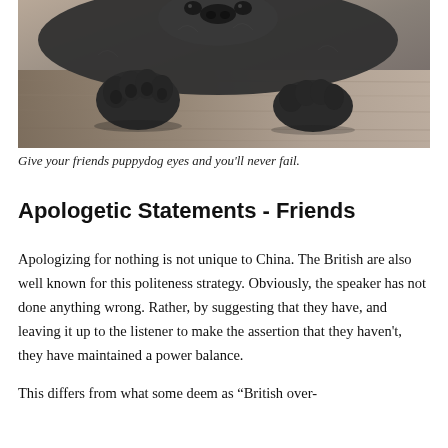[Figure (photo): Close-up black and white photograph of a dog's paws and face resting on a wooden surface, looking up with puppy dog eyes.]
Give your friends puppydog eyes and you'll never fail.
Apologetic Statements - Friends
Apologizing for nothing is not unique to China. The British are also well known for this politeness strategy. Obviously, the speaker has not done anything wrong. Rather, by suggesting that they have, and leaving it up to the listener to make the assertion that they haven't, they have maintained a power balance.
This differs from what some deem as “British over-